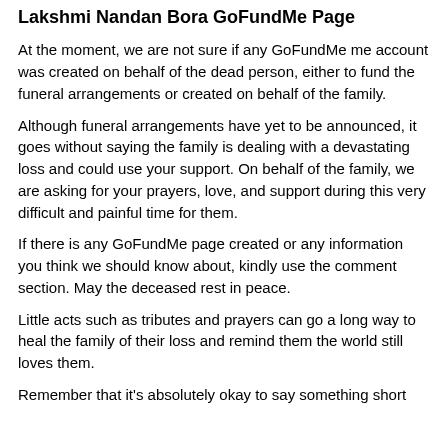Lakshmi Nandan Bora GoFundMe Page
At the moment, we are not sure if any GoFundMe me account was created on behalf of the dead person, either to fund the funeral arrangements or created on behalf of the family.
Although funeral arrangements have yet to be announced, it goes without saying the family is dealing with a devastating loss and could use your support. On behalf of the family, we are asking for your prayers, love, and support during this very difficult and painful time for them.
If there is any GoFundMe page created or any information you think we should know about, kindly use the comment section. May the deceased rest in peace.
Little acts such as tributes and prayers can go a long way to heal the family of their loss and remind them the world still loves them.
Remember that it's absolutely okay to say something short